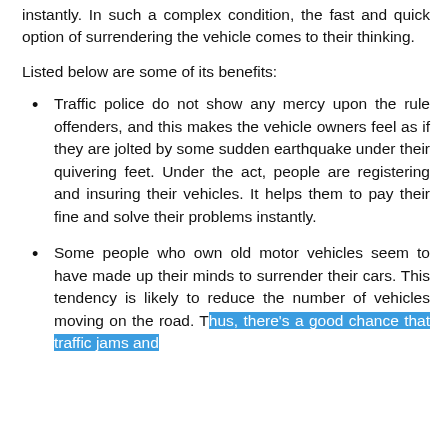instantly. In such a complex condition, the fast and quick option of surrendering the vehicle comes to their thinking.
Listed below are some of its benefits:
Traffic police do not show any mercy upon the rule offenders, and this makes the vehicle owners feel as if they are jolted by some sudden earthquake under their quivering feet. Under the act, people are registering and insuring their vehicles. It helps them to pay their fine and solve their problems instantly.
Some people who own old motor vehicles seem to have made up their minds to surrender their cars. This tendency is likely to reduce the number of vehicles moving on the road. Thus, there's a good chance that traffic jams and